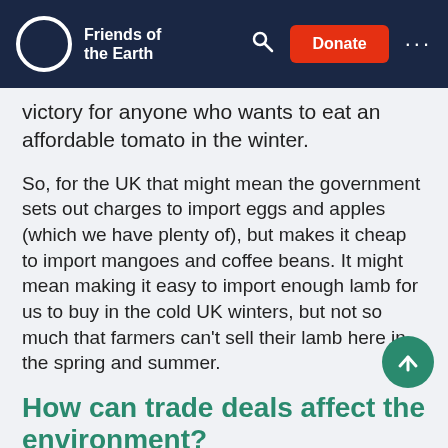Friends of the Earth | Search | Donate | Menu
victory for anyone who wants to eat an affordable tomato in the winter.
So, for the UK that might mean the government sets out charges to import eggs and apples (which we have plenty of), but makes it cheap to import mangoes and coffee beans. It might mean making it easy to import enough lamb for us to buy in the cold UK winters, but not so much that farmers can't sell their lamb here in the spring and summer.
How can trade deals affect the environment?
Trade deals can also be used to protect consumers, for instance by banning beef treated with hormones, make-up that may contain traces of asbestos, or toys made with lead-based paint – until science shows